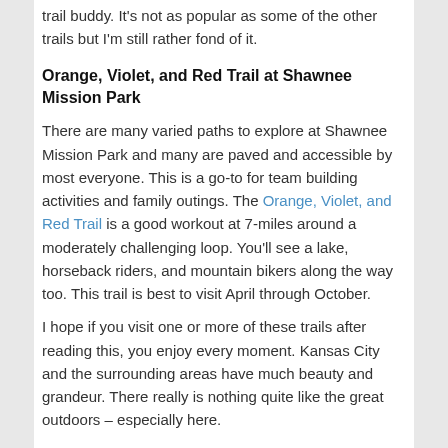trail buddy. It's not as popular as some of the other trails but I'm still rather fond of it.
Orange, Violet, and Red Trail at Shawnee Mission Park
There are many varied paths to explore at Shawnee Mission Park and many are paved and accessible by most everyone. This is a go-to for team building activities and family outings. The Orange, Violet, and Red Trail is a good workout at 7-miles around a moderately challenging loop. You'll see a lake, horseback riders, and mountain bikers along the way too. This trail is best to visit April through October.
I hope if you visit one or more of these trails after reading this, you enjoy every moment. Kansas City and the surrounding areas have much beauty and grandeur. There really is nothing quite like the great outdoors – especially here.
~ Scott Asner, Founding Principal of Eighteen Capital